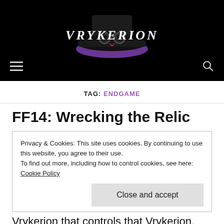VRYKERION
TAG: ENDGAME
FF14: Wrecking the Relic
Privacy & Cookies: This site uses cookies. By continuing to use this website, you agree to their use.
To find out more, including how to control cookies, see here: Cookie Policy
Close and accept
Vrykerion that controls that Vrykerion. Got